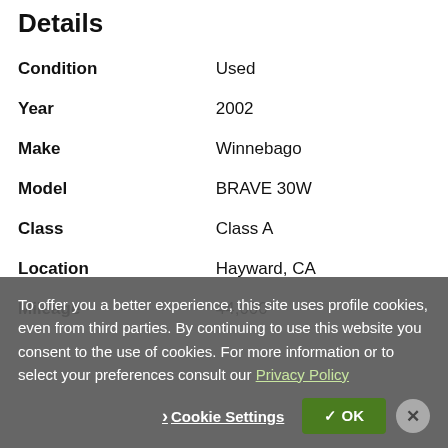Details
| Field | Value |
| --- | --- |
| Condition | Used |
| Year | 2002 |
| Make | Winnebago |
| Model | BRAVE 30W |
| Class | Class A |
| Location | Hayward, CA |
| Mileage | 44,000 |
To offer you a better experience, this site uses profile cookies, even from third parties. By continuing to use this website you consent to the use of cookies. For more information or to select your preferences consult our Privacy Policy